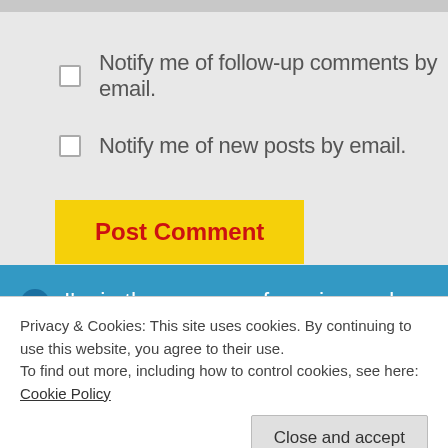Notify me of follow-up comments by email.
Notify me of new posts by email.
Post Comment
I'm in the process of moving and have paused taking orders. When I'm settled and everything is unpacked, I'll
Privacy & Cookies: This site uses cookies. By continuing to use this website, you agree to their use.
To find out more, including how to control cookies, see here: Cookie Policy
Close and accept